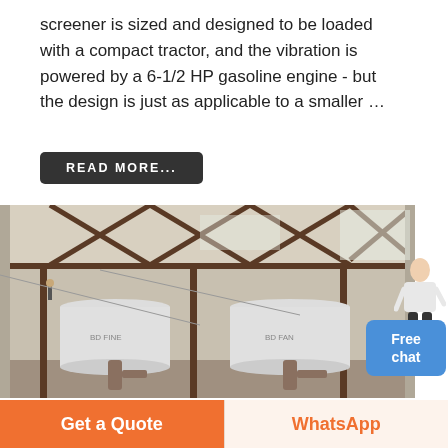screener is sized and designed to be loaded with a compact tractor, and the vibration is powered by a 6-1/2 HP gasoline engine - but the design is just as applicable to a smaller ...
READ MORE...
[Figure (photo): Industrial factory interior showing large cylindrical tanks or silos with steel framework structure, pipes, and industrial equipment inside a warehouse building.]
Free chat
Get a Quote
WhatsApp